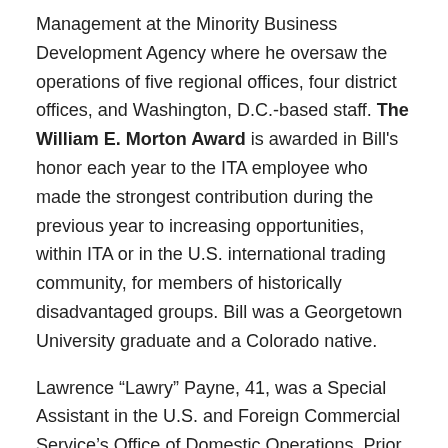Management at the Minority Business Development Agency where he oversaw the operations of five regional offices, four district offices, and Washington, D.C.-based staff. The William E. Morton Award is awarded in Bill's honor each year to the ITA employee who made the strongest contribution during the previous year to increasing opportunities, within ITA or in the U.S. international trading community, for members of historically disadvantaged groups. Bill was a Georgetown University graduate and a Colorado native.
Lawrence “Lawry” Payne, 41, was a Special Assistant in the U.S. and Foreign Commercial Service’s Office of Domestic Operations. Prior to his service in the Department of Commerce, Lawry had staffed former Senator Paul Tsongas as a legislative assistant focused on